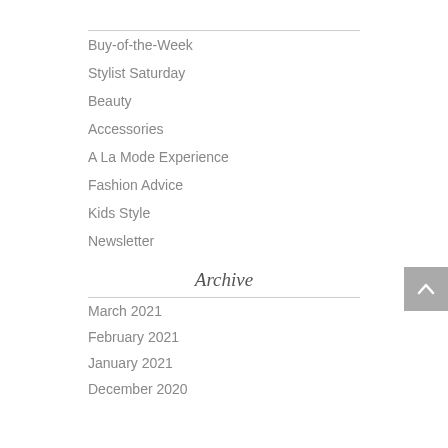Buy-of-the-Week
Stylist Saturday
Beauty
Accessories
A La Mode Experience
Fashion Advice
Kids Style
Newsletter
Archive
March 2021
February 2021
January 2021
December 2020